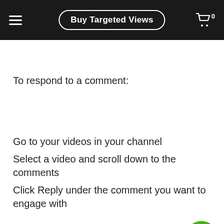Buy Targeted Views
To respond to a comment:
Go to your videos in your channel
Select a video and scroll down to the comments
Click Reply under the comment you want to engage with